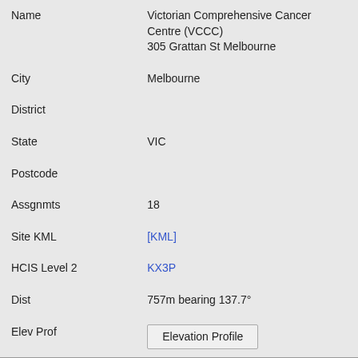| Field | Value |
| --- | --- |
| Name | Victorian Comprehensive Cancer Centre (VCCC)
305 Grattan St Melbourne |
| City | Melbourne |
| District |  |
| State | VIC |
| Postcode |  |
| Assgnmts | 18 |
| Site KML | [KML] |
| HCIS Level 2 | KX3P |
| Dist | 757m bearing 137.7° |
| Elev Prof | Elevation Profile |
| Site ID | 10006882 |
| Name | Kenneth Myer Carpark cnr Royal Parade and Genetics Lane PARKVILLE |
| City | PARKVILLE |
| District |  |
| State | VIC |
| Postcode |  |